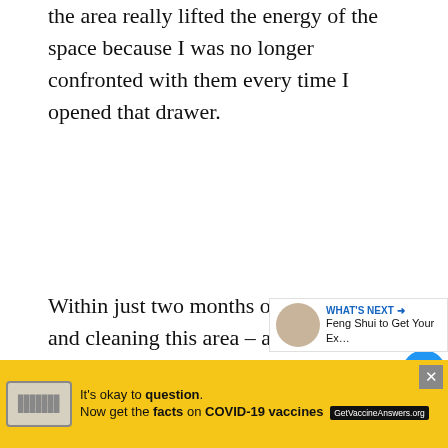the area really lifted the energy of the space because I was no longer confronted with them every time I opened that drawer.
Within just two months of decluttering and cleaning this area – and keeping it clean – my husband landed a new job making almost twice as much as he made at his current job. To me, the decluttering totally worked.  And honestly, it was something I needed to do anyway.
[Figure (screenshot): Advertisement banner: yellow background with text 'It's okay to question. Now get the facts on COVID-19 vaccines GetVaccineAnswers.org' with a close button and logo]